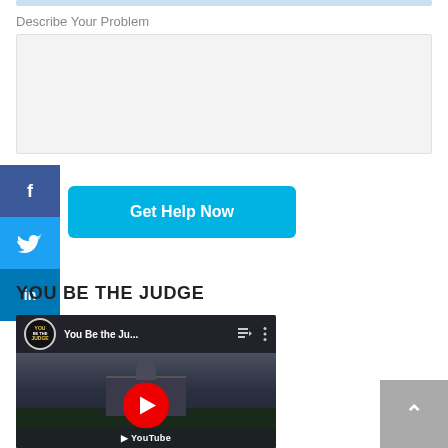Describe Your Problem
[Figure (screenshot): Empty textarea input field with light gray background for user to describe their legal problem]
[Figure (other): Social media sharing sidebar with Facebook (f), Twitter (bird), and LinkedIn (in) icons in dark blue, cyan, and navy backgrounds]
[Figure (other): Cyan 'Get Help Now' button]
YOU BE THE JUDGE
[Figure (screenshot): YouTube embedded video thumbnail showing 'You Be the Ju...' with the You Be the Judge logo, capitol building background, and red YouTube play button]
[Figure (other): Gray scroll-to-top button with white upward chevron arrow in bottom-right corner]